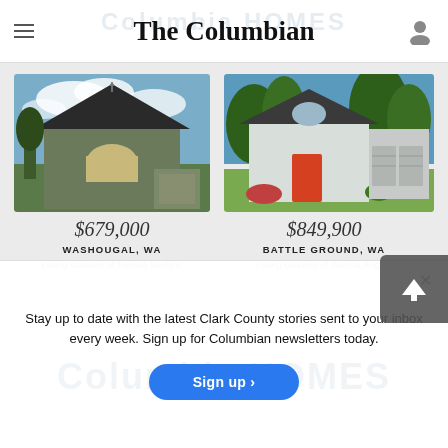The Columbian
[Figure (photo): Two-story green house with dark roof, arched window, cloudy sky]
$679,000
WASHOUGAL, WA
Listing courtesy of Pamela Seekins
[Figure (photo): White craftsman home with large garage, surrounded by green trees]
$849,900
BATTLE GROUND, WA
Listing courtesy of Patricia Rogers
Stay up to date with the latest Clark County stories sent to your inbox every week. Sign up for Columbian newsletters today.